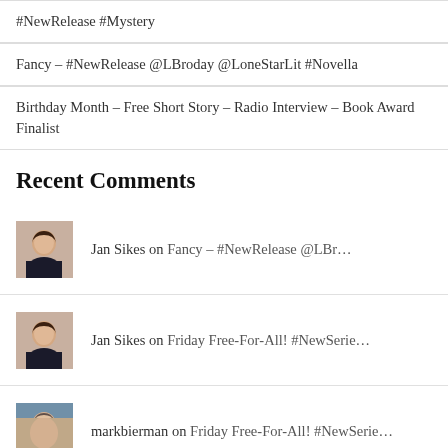#NewRelease #Mystery
Fancy – #NewRelease @LBroday @LoneStarLit #Novella
Birthday Month – Free Short Story – Radio Interview – Book Award Finalist
Recent Comments
Jan Sikes on Fancy – #NewRelease @LBr…
Jan Sikes on Friday Free-For-All! #NewSerie…
markbierman on Friday Free-For-All! #NewSerie…
markbierman on Fancy – #NewRelease @LBr…